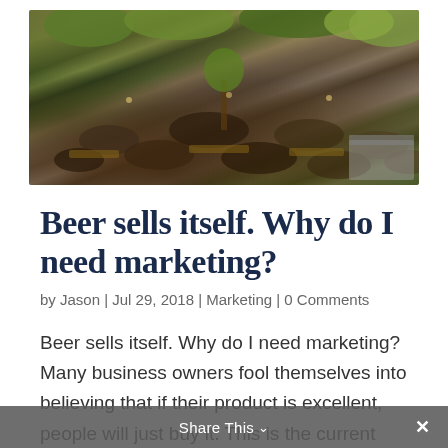[Figure (photo): Aerial/overhead view of a crowded outdoor beer garden with many people seated at picnic tables surrounded by trees with yellow/green foliage]
Beer sells itself. Why do I need marketing?
by Jason | Jul 29, 2018 | Marketing | 0 Comments
Beer sells itself. Why do I need marketing? Many business owners fool themselves into believing that if their product is excellent, people will just buy it. This is the current and prevalent thought amongst brewery owners
Share This ∨ ×